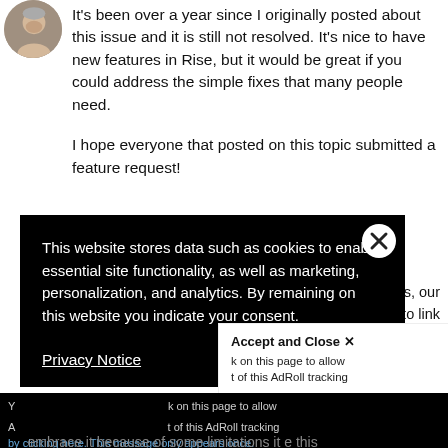[Figure (photo): Circular avatar photo of a middle-aged man with short grey hair]
It's been over a year since I originally posted about this issue and it is still not resolved. It's nice to have new features in Rise, but it would be great if you could address the simple fixes that many people need.

I hope everyone that posted on this topic submitted a feature request!
[Figure (screenshot): Cookie consent overlay on dark black background with close (X) button. Text reads: 'This website stores data such as cookies to enable essential site functionality, as well as marketing, personalization, and analytics. By remaining on this website you indicate your consent.' with a Privacy Notice link at bottom.]
nd yes, our
nality to link
se or external
Accept and Close ✕
k on this page to allow
t of this AdRoll tracking
by clicking here. This message only appears once.
embrace it because of some limitations it e this